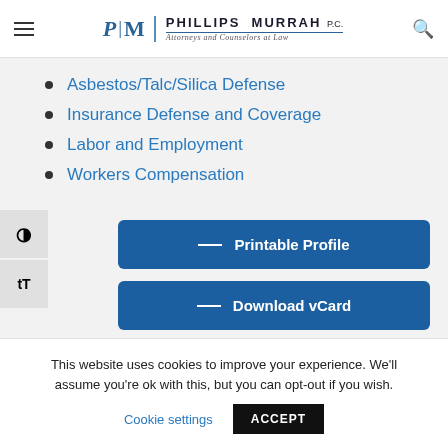Phillips Murrah P.C. — Attorneys and Counselors at Law
Asbestos/Talc/Silica Defense
Insurance Defense and Coverage
Labor and Employment
Workers Compensation
Printable Profile
Download vCard
This website uses cookies to improve your experience. We'll assume you're ok with this, but you can opt-out if you wish. Cookie settings ACCEPT